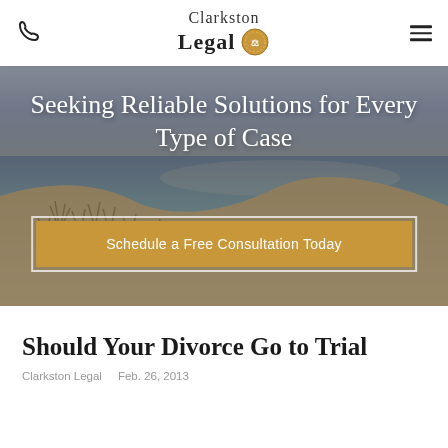Clarkston Legal
[Figure (illustration): Hero background image of a beach scene with coastal dunes, sea grass, and ocean water with a blue-gray sky. Overlaid with a semi-transparent tint.]
Seeking Reliable Solutions for Every Type of Case
Schedule a Free Consultation Today
Should Your Divorce Go to Trial
Clarkston Legal   Feb. 26, 2013